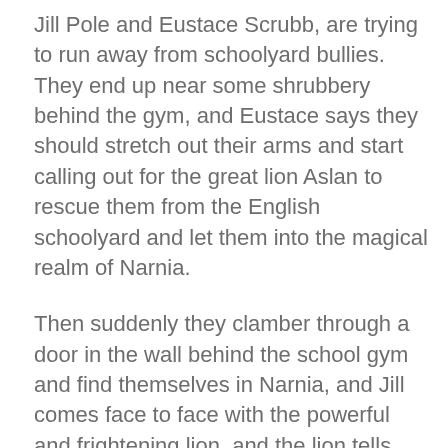Jill Pole and Eustace Scrubb, are trying to run away from schoolyard bullies. They end up near some shrubbery behind the gym, and Eustace says they should stretch out their arms and start calling out for the great lion Aslan to rescue them from the English schoolyard and let them into the magical realm of Narnia.
Then suddenly they clamber through a door in the wall behind the school gym and find themselves in Narnia, and Jill comes face to face with the powerful and frightening lion, and the lion tells her that he called her to Narnia to complete a task.